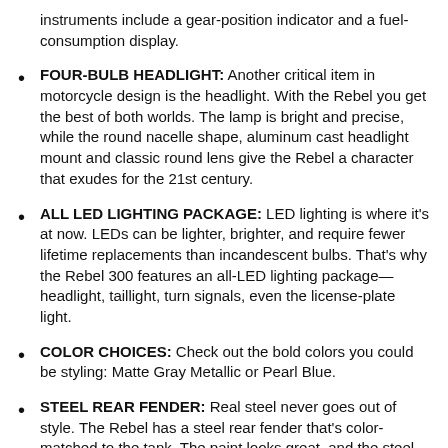instruments include a gear-position indicator and a fuel-consumption display.
FOUR-BULB HEADLIGHT: Another critical item in motorcycle design is the headlight. With the Rebel you get the best of both worlds. The lamp is bright and precise, while the round nacelle shape, aluminum cast headlight mount and classic round lens give the Rebel a character that exudes for the 21st century.
ALL LED LIGHTING PACKAGE: LED lighting is where it's at now. LEDs can be lighter, brighter, and require fewer lifetime replacements than incandescent bulbs. That's why the Rebel 300 features an all-LED lighting package—headlight, taillight, turn signals, even the license-plate light.
COLOR CHOICES: Check out the bold colors you could be styling: Matte Gray Metallic or Pearl Blue.
STEEL REAR FENDER: Real steel never goes out of style. The Rebel has a steel rear fender that's color-matched to the tank. The paint looks great, and the steel fender helps provide a solid support for the optional/removable passenger seat.